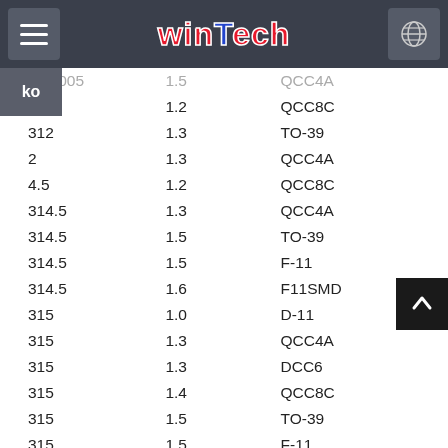WinTech header with hamburger menu, logo, and globe icon
| Value1 | Value2 | Code |
| --- | --- | --- |
| 311.005 | 1.5 | QCC4A |
| 312 | 1.2 | QCC8C |
| 312 | 1.3 | TO-39 |
| 2 | 1.3 | QCC4A |
| 4.5 | 1.2 | QCC8C |
| 314.5 | 1.3 | QCC4A |
| 314.5 | 1.5 | TO-39 |
| 314.5 | 1.5 | F-11 |
| 314.5 | 1.6 | F11SMD |
| 315 | 1.0 | D-11 |
| 315 | 1.3 | QCC4A |
| 315 | 1.3 | DCC6 |
| 315 | 1.4 | QCC8C |
| 315 | 1.5 | TO-39 |
| 315 | 1.5 | F-11 |
| 315 | 1.5 | DCC6C |
| 315 | 1.6 | F11SMD |
| 315.5 | 1.2 | TO-39 |
| 315.5 | 1.3 | F-11 |
| 315.5 | 1.3 | DCC6C |
| 315.5 | 1.3 | D-11 |
| 315.5 | 1.5 | QCC8C |
| 315.5 | 1.5 | QCC4A |